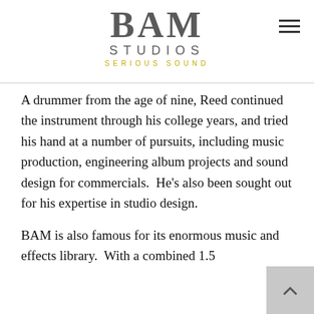[Figure (logo): BAM Studios logo with 'SERIOUS SOUND' tagline in yellow]
A drummer from the age of nine, Reed continued the instrument through his college years, and tried his hand at a number of pursuits, including music production, engineering album projects and sound design for commercials.  He’s also been sought out for his expertise in studio design.
BAM is also famous for its enormous music and effects library.  With a combined 1.5